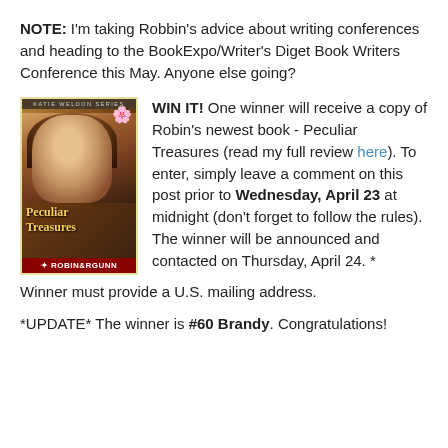NOTE: I'm taking Robbin's advice about writing conferences and heading to the BookExpo/Writer's Diget Book Writers Conference this May. Anyone else going?
[Figure (photo): Book cover of 'Peculiar Treasures' by Robin B. Gunn, showing a woman smiling, with series banner at top and red author bar at bottom.]
WIN IT! One winner will receive a copy of Robin's newest book - Peculiar Treasures (read my full review here). To enter, simply leave a comment on this post prior to Wednesday, April 23 at midnight (don't forget to follow the rules). The winner will be announced and contacted on Thursday, April 24. * Winner must provide a U.S. mailing address.
*UPDATE* The winner is #60 Brandy. Congratulations!